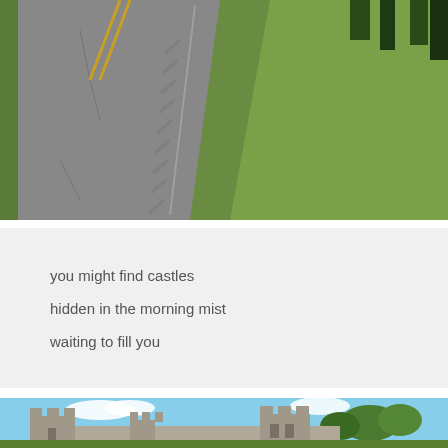[Figure (photo): Aerial view of a road with yellow center lines bordered by neatly mowed green grass, with rumble strips along the asphalt edge and trees in the background.]
you might find castles
hidden in the morning mist
waiting to fill you
[Figure (photo): Partial view of a castle with stone battlements and towers, surrounded by green trees under a blue sky with clouds.]